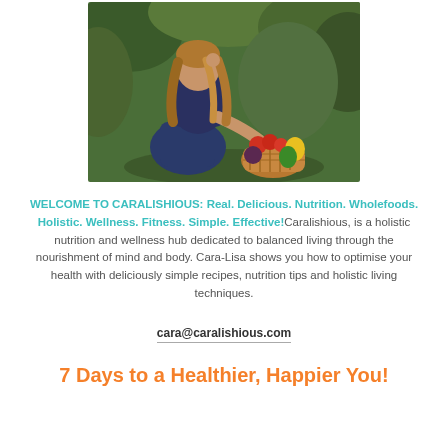[Figure (photo): Woman crouching in a garden holding a wicker basket filled with colorful vegetables including tomatoes, peppers, and other produce, with greenery in the background.]
WELCOME TO CARALISHIOUS: Real. Delicious. Nutrition. Wholefoods. Holistic. Wellness. Fitness. Simple. Effective! Caralishious, is a holistic nutrition and wellness hub dedicated to balanced living through the nourishment of mind and body. Cara-Lisa shows you how to optimise your health with deliciously simple recipes, nutrition tips and holistic living techniques.
cara@caralishious.com
7 Days to a Healthier, Happier You!